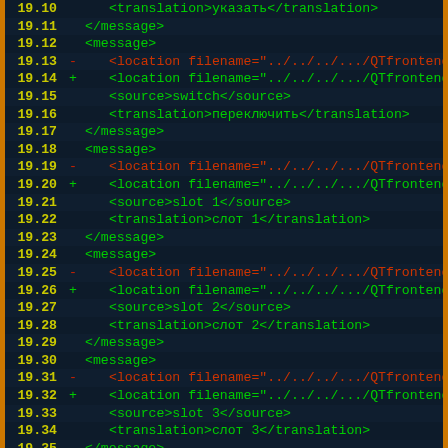[Figure (screenshot): Code diff screenshot showing XML translation file lines 19.10 through 19.38, dark background with green XML tags, red diff markers, and yellow line numbers. Content shows message blocks with location, source, and translation elements for Russian text.]